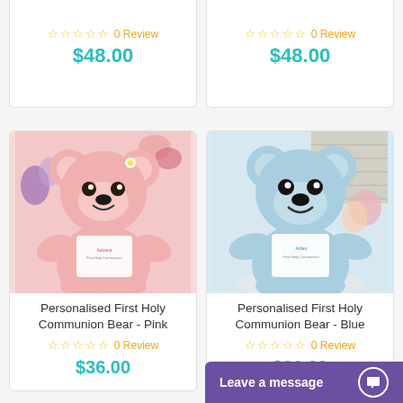[Figure (photo): Partial top of product card showing 0 Review rating and $48.00 price (left)]
0 Review
$48.00
[Figure (photo): Partial top of product card showing 0 Review rating and $48.00 price (right)]
0 Review
$48.00
[Figure (photo): Pink personalised First Holy Communion teddy bear wearing a white t-shirt with custom text, surrounded by pink and purple flowers]
Personalised First Holy Communion Bear - Pink
0 Review
$36.00
[Figure (photo): Blue personalised First Holy Communion teddy bear wearing a white t-shirt with custom text, against a brick wall background with flowers]
Personalised First Holy Communion Bear - Blue
0 Review
$36.00
Leave a message